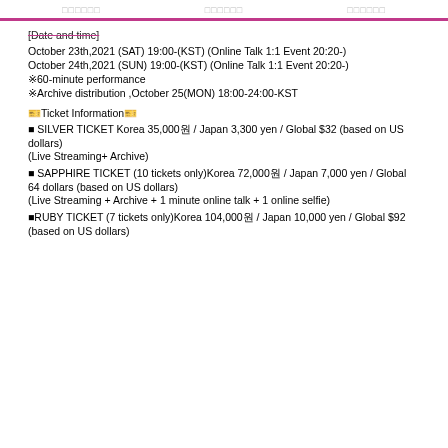□□□□□□  □□□□□□  □□□□□□
[Date and time]
October 23th,2021 (SAT) 19:00-(KST) (Online Talk 1:1 Event 20:20-)
October 24th,2021 (SUN) 19:00-(KST) (Online Talk 1:1 Event 20:20-)
※60-minute performance
※Archive distribution ,October 25(MON) 18:00-24:00-KST
🎫Ticket Information🎫
■ SILVER TICKET Korea 35,000원 / Japan 3,300 yen / Global $32 (based on US dollars)
(Live Streaming+ Archive)
■ SAPPHIRE TICKET (10 tickets only)Korea 72,000원 / Japan 7,000 yen / Global 64 dollars (based on US dollars)
(Live Streaming + Archive + 1 minute online talk + 1 online selfie)
■RUBY TICKET (7 tickets only)Korea 104,000원 / Japan 10,000 yen / Global $92 (based on US dollars)